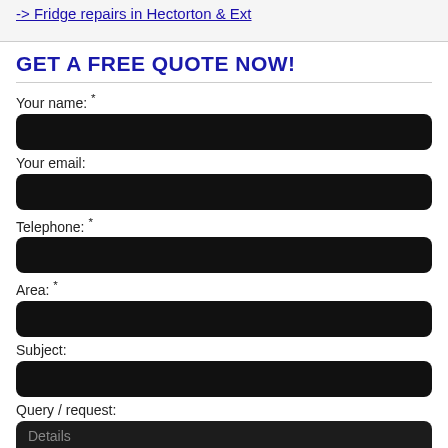-> Fridge repairs in Hectorton & Ext
GET A FREE QUOTE NOW!
Your name: *
Your email:
Telephone: *
Area: *
Subject:
Query / request:
Details